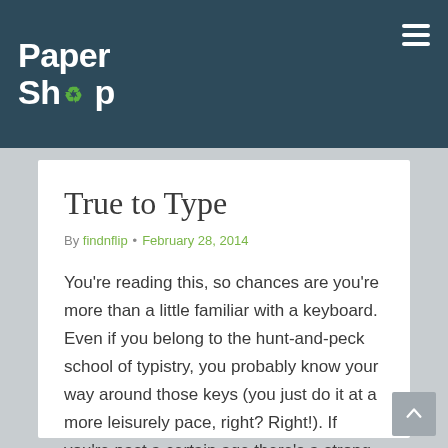Paper Shop
True to Type
By findnflip • February 28, 2014
You're reading this, so chances are you're more than a little familiar with a keyboard. Even if you belong to the hunt-and-peck school of typistry, you probably know your way around those keys (you just do it at a more leisurely pace, right? Right!). If you're past a certain age there's a strong possibility that...
Read more ▶